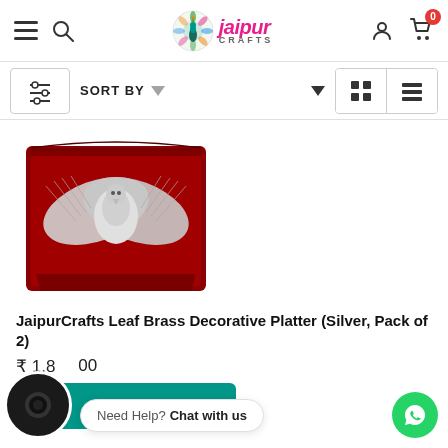[Figure (logo): Jaipur Crafts logo with peacock emblem and pink brand name]
[Figure (screenshot): Filter and sort toolbar with grid/list view toggle buttons]
[Figure (photo): Silver leaf brass decorative platter in a red velvet box]
JaipurCrafts Leaf Brass Decorative Platter (Silver, Pack of 2)
₹ 1,800.00
ADD TO CART
Need Help? Chat with us